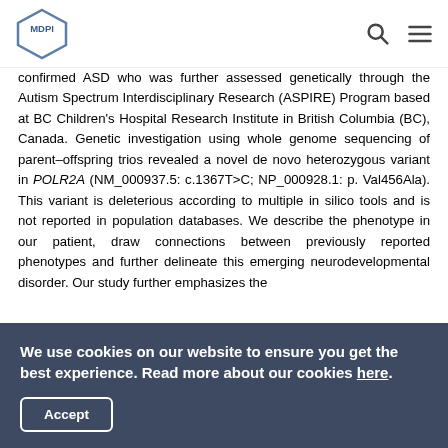MDPI
confirmed ASD who was further assessed genetically through the Autism Spectrum Interdisciplinary Research (ASPIRE) Program based at BC Children's Hospital Research Institute in British Columbia (BC), Canada. Genetic investigation using whole genome sequencing of parent–offspring trios revealed a novel de novo heterozygous variant in POLR2A (NM_000937.5: c.1367T>C; NP_000928.1: p. Val456Ala). This variant is deleterious according to multiple in silico tools and is not reported in population databases. We describe the phenotype in our patient, draw connections between previously reported phenotypes and further delineate this emerging neurodevelopmental disorder. Our study further emphasizes the
We use cookies on our website to ensure you get the best experience. Read more about our cookies here.
Accept